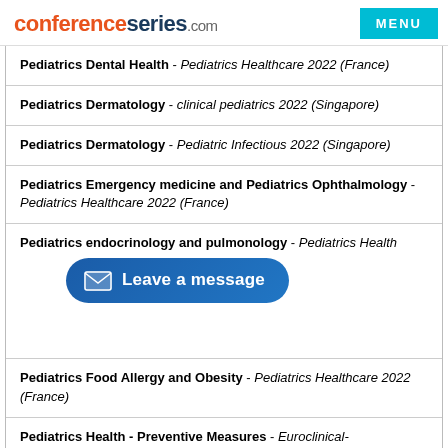conferenceseries.com — MENU
Pediatrics Dental Health - Pediatrics Healthcare 2022 (France)
Pediatrics Dermatology - clinical pediatrics 2022 (Singapore)
Pediatrics Dermatology - Pediatric Infectious 2022 (Singapore)
Pediatrics Emergency medicine and Pediatrics Ophthalmology - Pediatrics Healthcare 2022 (France)
Pediatrics endocrinology and pulmonology - Pediatrics Healthcare [Leave a message overlay]
Pediatrics Food Allergy and Obesity - Pediatrics Healthcare 2022 (France)
Pediatrics Health - Preventive Measures - Euroclinical-
+44-2039369064
Pediatrics Health Care - clinical pediatrics 2022 (Singapore)